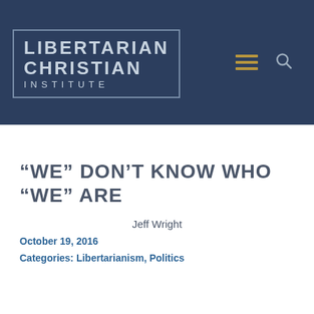[Figure (logo): Libertarian Christian Institute logo — white/light text on dark navy blue background with rectangular border. Text reads LIBERTARIAN CHRISTIAN INSTITUTE with hamburger menu icon and search icon on the right.]
“WE” DON’T KNOW WHO “WE” ARE
Jeff Wright
October 19, 2016
Categories: Libertarianism, Politics